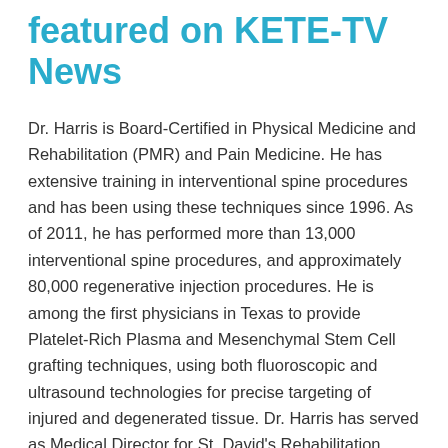featured on KETE-TV News
Dr. Harris is Board-Certified in Physical Medicine and Rehabilitation (PMR) and Pain Medicine. He has extensive training in interventional spine procedures and has been using these techniques since 1996. As of 2011, he has performed more than 13,000 interventional spine procedures, and approximately 80,000 regenerative injection procedures. He is among the first physicians in Texas to provide Platelet-Rich Plasma and Mesenchymal Stem Cell grafting techniques, using both fluoroscopic and ultrasound technologies for precise targeting of injured and degenerated tissue. Dr. Harris has served as Medical Director for St. David's Rehabilitation Center in Austin, Texas from 1992-2001. He has been an adjunct associate professor at the University of Texas at Austin in the Department of Electrical Engineering. Dr. Harris has taught